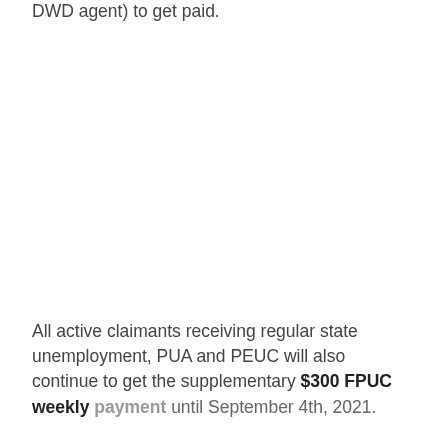DWD agent) to get paid.
All active claimants receiving regular state unemployment, PUA and PEUC will also continue to get the supplementary $300 FPUC weekly payment until September 4th, 2021.